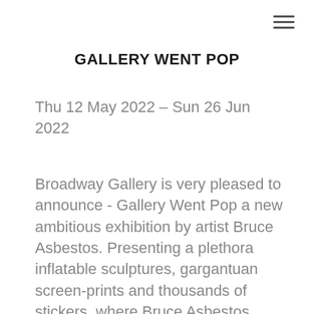≡
GALLERY WENT POP
Thu 12 May 2022 – Sun 26 Jun 2022
Broadway Gallery is very pleased to announce - Gallery Went Pop a new ambitious exhibition by artist Bruce Asbestos. Presenting a plethora inflatable sculptures, gargantuan screen-prints and thousands of stickers, where Bruce Asbestos takes a